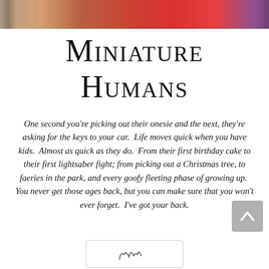[Figure (photo): Cropped photo strip at top showing children outdoors in autumn, wearing red clothing and sequined jacket]
Miniature Humans
One second you're picking out their onesie and the next, they're asking for the keys to your car.  Life moves quick when you have kids.  Almost as quick as they do.  From their first birthday cake to their first lightsaber fight; from picking out a Christmas tree, to faeries in the park, and every goofy fleeting phase of growing up.  You never get those ages back, but you can make sure that you won't ever forget.  I've got your back.
[Figure (logo): Decorative script logo/signature at bottom in a rounded rectangle box]